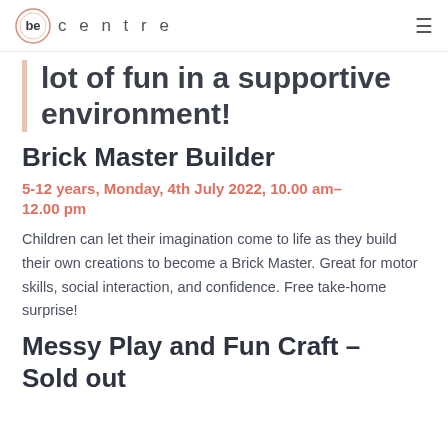be centre
lot of fun in a supportive environment!
Brick Master Builder
5-12 years, Monday, 4th July 2022, 10.00 am–12.00 pm
Children can let their imagination come to life as they build their own creations to become a Brick Master. Great for motor skills, social interaction, and confidence. Free take-home surprise!
Messy Play and Fun Craft – Sold out